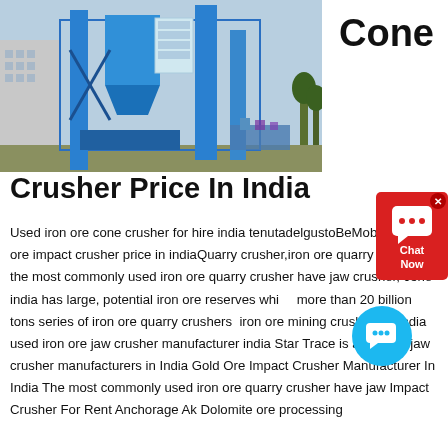[Figure (photo): Industrial blue machinery/cone crusher equipment with tall blue cylindrical towers, silos, and metal framework against a sky backdrop]
Cone
Crusher Price In India
[Figure (other): Red chat widget button with chat bubble icon and text 'Chat Now', with a blue circular chat icon overlay]
Used iron ore cone crusher for hire india tenutadelgustoBeMobile iron ore impact crusher price in indiaQuarry crusher,iron ore quarry crusher the most commonly used iron ore quarry crusher have jaw crusher, cone india has large, potential iron ore reserves whi more than 20 billion tons series of iron ore quarry crushers iron ore mining crushers in india used iron ore jaw crusher manufacturer india Star Trace is a famous jaw crusher manufacturers in India Gold Ore Impact Crusher Manufacturer In India The most commonly used iron ore quarry crusher have jaw Impact Crusher For Rent Anchorage Ak Dolomite ore processing